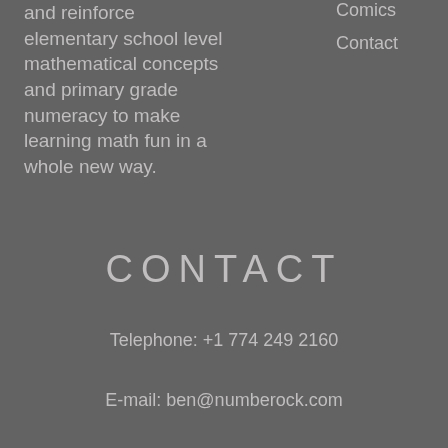and reinforce elementary school level mathematical concepts and primary grade numeracy to make learning math fun in a whole new way.
Comics
Contact
CONTACT
Telephone: +1 774 249 2160
E-mail: ben@numberock.com